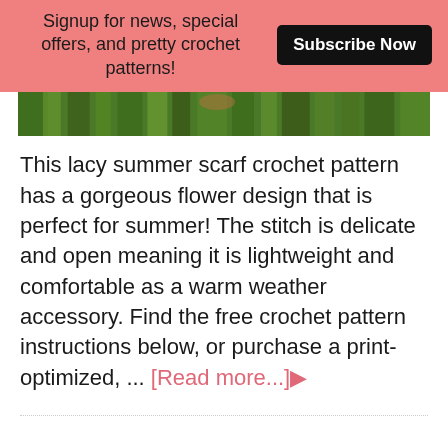Signup for news, special offers, and pretty crochet patterns! Subscribe Now
[Figure (photo): A strip of a garden/outdoor photo showing green grass and plants]
This lacy summer scarf crochet pattern has a gorgeous flower design that is perfect for summer! The stitch is delicate and open meaning it is lightweight and comfortable as a warm weather accessory. Find the free crochet pattern instructions below, or purchase a print-optimized, ... [Read more...]▶